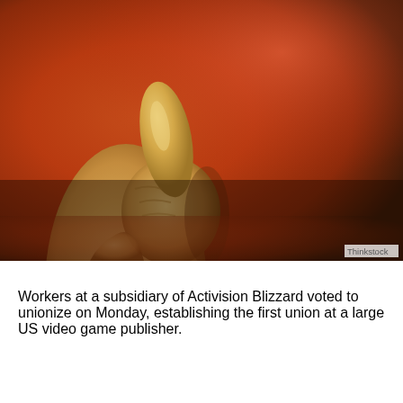[Figure (photo): A close-up photo of a human hand giving a thumbs-up gesture against a warm red/orange blurred background. Photo credit: Thinkstock.]
Workers at a subsidiary of Activision Blizzard voted to unionize on Monday, establishing the first union at a large US video game publisher.